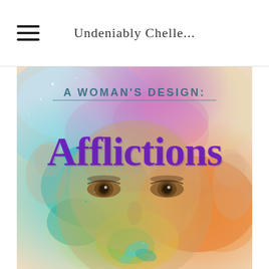Undeniably Chelle...
[Figure (illustration): Book cover for 'A Woman's Design: Afflictions' featuring a close-up of a woman's face with colorful powder paint (holi colors) in teal, orange, yellow, pink, and purple splashed across it. Multiple overlapping face profiles visible. Title text 'A WOMAN'S DESIGN:' at top in dark teal serif letters, and 'Afflictions' in large purple cursive/script font across the middle.]